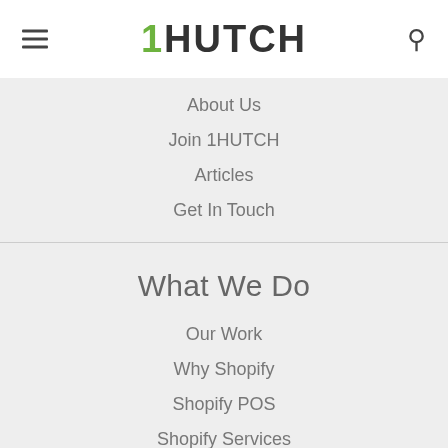1HUTCH
About Us
Join 1HUTCH
Articles
Get In Touch
What We Do
Our Work
Why Shopify
Shopify POS
Shopify Services